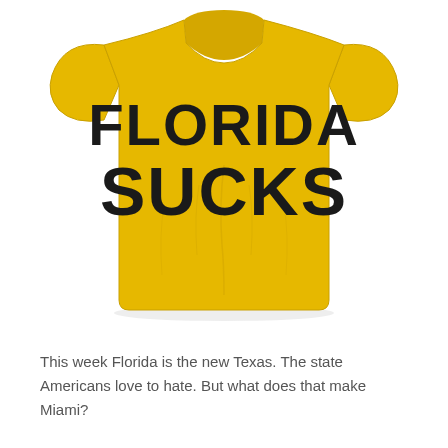[Figure (photo): A yellow t-shirt with bold black text reading 'FLORIDA SUCKS' printed on the front, displayed flat on a white background.]
This week Florida is the new Texas. The state Americans love to hate. But what does that make Miami?